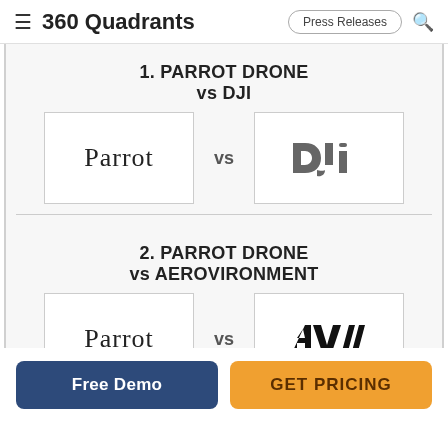360 Quadrants | Press Releases
1. PARROT DRONE vs DJI
[Figure (logo): Parrot logo in serif font inside a bordered box, VS text, DJI logo in stylized font inside a bordered box]
2. PARROT DRONE vs AEROVIRONMENT
[Figure (logo): Parrot logo in serif font inside a bordered box, VS text, AeroVironment AV logo with tagline inside a bordered box]
Free Demo
GET PRICING